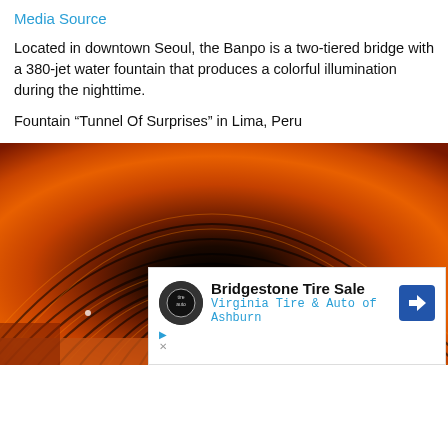Media Source
Located in downtown Seoul, the Banpo is a two-tiered bridge with a 380-jet water fountain that produces a colorful illumination during the nighttime.
Fountain “Tunnel Of Surprises” in Lima, Peru
[Figure (photo): Orange and black illuminated tunnel of arching light streaks (fountain tunnel at night), with a white advertisement overlay at bottom showing Bridgestone Tire Sale / Virginia Tire & Auto of Ashburn.]